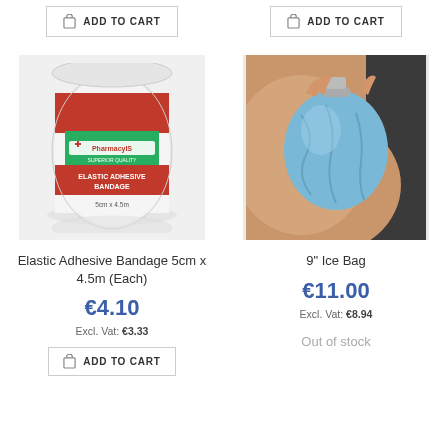[Figure (other): Add to Cart button for product 1 (top)]
[Figure (other): Add to Cart button for product 2 (top)]
[Figure (photo): Photo of Elastic Adhesive Bandage 5cm x 4.5m roll with red and white PharmacyIS label]
[Figure (photo): Photo of a 9 inch blue ice bag being held against a knee/joint]
Elastic Adhesive Bandage 5cm x 4.5m (Each)
€4.10
Excl. Vat: €3.33
9" Ice Bag
€11.00
Excl. Vat: €8.94
Out of stock
[Figure (other): Add to Cart button for Elastic Adhesive Bandage]